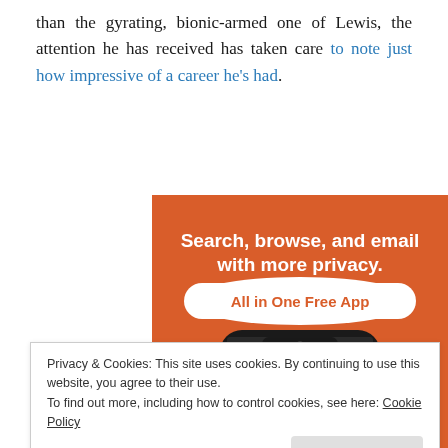than the gyrating, bionic-armed one of Lewis, the attention he has received has taken care to note just how impressive of a career he's had.
[Figure (infographic): DuckDuckGo advertisement: orange background with white bold text 'Search, browse, and email with more privacy.' and a white brushstroke button reading 'All in One Free App'. Below shows the top portion of a smartphone with the DuckDuckGo duck logo on screen.]
Privacy & Cookies: This site uses cookies. By continuing to use this website, you agree to their use.
To find out more, including how to control cookies, see here: Cookie Policy
sure seems like it may, Lewis' possibly outgoing opponent